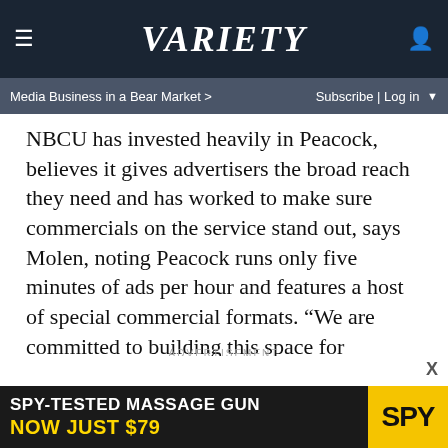VARIETY — Media Business in a Bear Market > | Subscribe | Log in
NBCU has invested heavily in Peacock, believes it gives advertisers the broad reach they need and has worked to make sure commercials on the service stand out, says Molen, noting Peacock runs only five minutes of ads per hour and features a host of special commercial formats. “We are committed to building this space for marketers and keeping consumer engagement around their ads,” she tells Variety. “Our pricing is going to reflect this.”
ADVERTISEMENT
Other media companies are expected to do the same, in a bid to maintain pricing integrity as viewers migrate to new
[Figure (screenshot): SPY-TESTED MASSAGE GUN NOW JUST $79 advertisement banner at the bottom of the page]